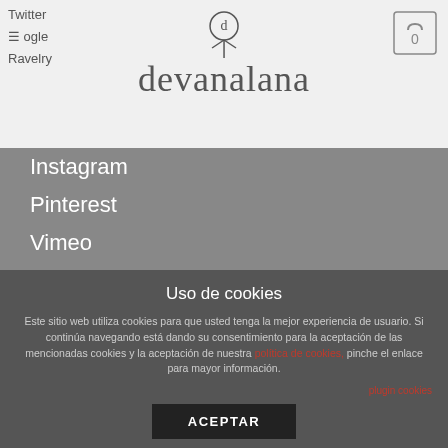devanalana
Twitter
≡ ogle
Ravelry
Instagram
Pinterest
Vimeo
YouTube
Email
[Figure (logo): PayPal logo button]
[Figure (logo): Bank Transfer logo button]
FAQ   CONTACTO DEVANALANA   ACERCA DE TÉRMINOS Y CONDICIONES
Uso de cookies
Este sitio web utiliza cookies para que usted tenga la mejor experiencia de usuario. Si continúa navegando está dando su consentimiento para la aceptación de las mencionadas cookies y la aceptación de nuestra política de cookies, pinche el enlace para mayor información.
plugin cookies
ACEPTAR